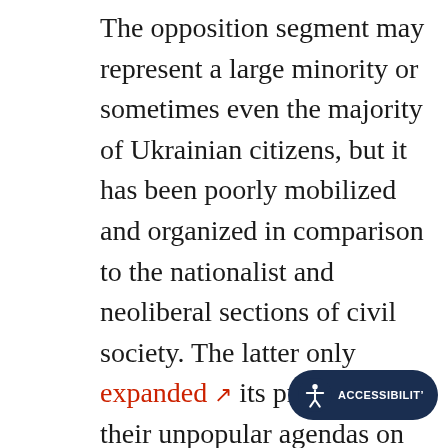The opposition segment may represent a large minority or sometimes even the majority of Ukrainian citizens, but it has been poorly mobilized and organized in comparison to the nationalist and neoliberal sections of civil society. The latter only expanded ↗ its pressure for their unpopular agendas on the weakened Ukrainian state. The radicalizing nationalist policies ↗ during Poroshenko's rule were followed, in 2021, by the sanctions and threats by Zelensky targeting a leader of the popular opposition party ↗, powerful oligarchs and most of the major opposition media. Despite human rights